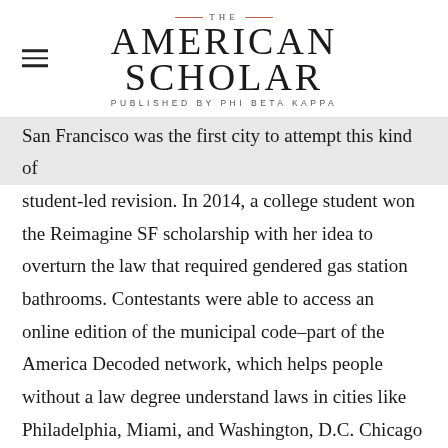THE AMERICAN SCHOLAR — PUBLISHED BY PHI BETA KAPPA
San Francisco was the first city to attempt this kind of student-led revision. In 2014, a college student won the Reimagine SF scholarship with her idea to overturn the law that required gendered gas station bathrooms. Contestants were able to access an online edition of the municipal code–part of the America Decoded network, which helps people without a law degree understand laws in cities like Philadelphia, Miami, and Washington, D.C. Chicago is also part of the network, and via chicagocode.org, high school students—and anyone else —can easily discover old laws still on the books. Laws